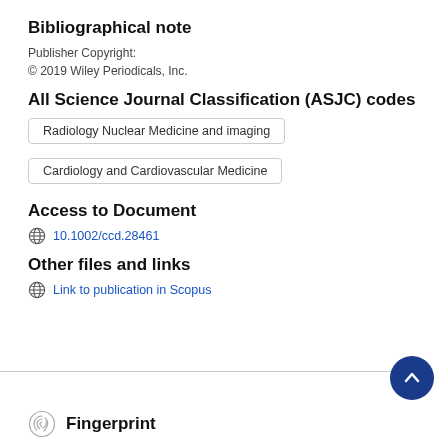Bibliographical note
Publisher Copyright:
© 2019 Wiley Periodicals, Inc.
All Science Journal Classification (ASJC) codes
Radiology Nuclear Medicine and imaging
Cardiology and Cardiovascular Medicine
Access to Document
10.1002/ccd.28461
Other files and links
Link to publication in Scopus
Fingerprint